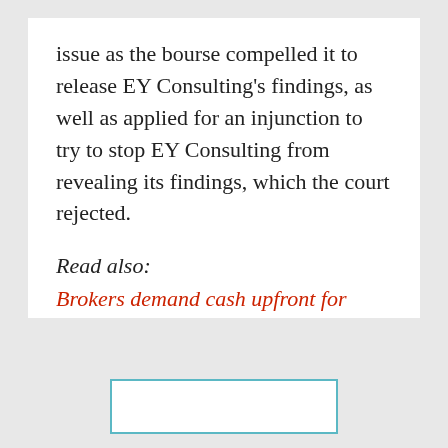issue as the bourse compelled it to release EY Consulting's findings, as well as applied for an injunction to try to stop EY Consulting from revealing its findings, which the court rejected.
Read also:
Brokers demand cash upfront for purchase of Serba Dinamik securities
Edited by Surin Murugiah
[Figure (other): Partially visible box with teal/cyan border at bottom of page]